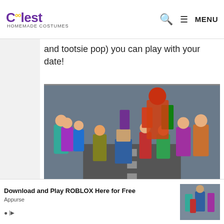Coolest Homemade Costumes — MENU
and tootsie pop) you can play with your date!
[Figure (photo): Group of animated Roblox game characters standing together on a road, colorful 3D rendered figures]
Download and Play ROBLOX Here for Free
Appurse
Outbrain
Download and Play ROBLOX Here for Free
Appurse
Outbrain